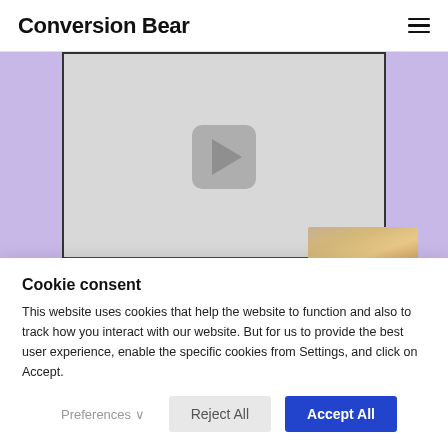Conversion Bear
[Figure (screenshot): YouTube-style video embed with play button on gray background, purple/lavender background behind it, and a dark overlay bar at the bottom showing 'Sell more with Honeycomb' text alongside a woman's face on the right]
Cookie consent
This website uses cookies that help the website to function and also to track how you interact with our website. But for us to provide the best user experience, enable the specific cookies from Settings, and click on Accept.
Preferences  Reject All  Accept All